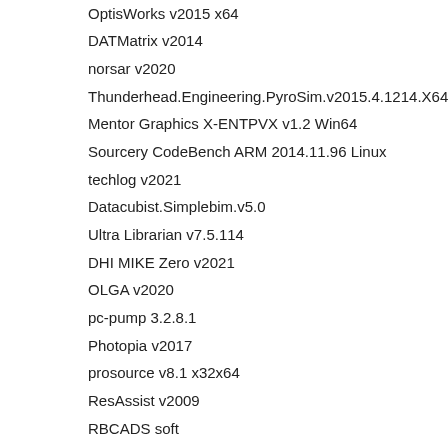OptisWorks v2015 x64
DATMatrix v2014
norsar v2020
Thunderhead.Engineering.PyroSim.v2015.4.1214.X64
Mentor Graphics X-ENTPVX v1.2 Win64
Sourcery CodeBench ARM 2014.11.96 Linux
techlog v2021
Datacubist.Simplebim.v5.0
Ultra Librarian v7.5.114
DHI MIKE Zero v2021
OLGA v2020
pc-pump 3.2.8.1
Photopia v2017
prosource v8.1 x32x64
ResAssist v2009
RBCADS soft
CSI.SAP2000.v18.1.0.1227
Studio Tecnico Guerra Thopos 2016 v7.03.00
DHI MIKE URBAN 2021
laker oa vK 2015.06-2
laker v2015.03-2
GEOTOMO VECON 2010